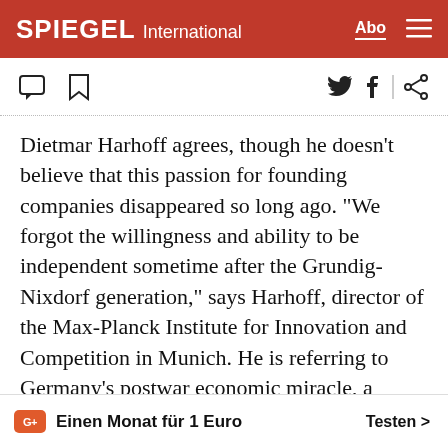SPIEGEL International
Dietmar Harhoff agrees, though he doesn't believe that this passion for founding companies disappeared so long ago. "We forgot the willingness and ability to be independent sometime after the Grundig-Nixdorf generation," says Harhoff, director of the Max-Planck Institute for Innovation and Competition in Munich. He is referring to Germany's postwar economic miracle, a period that produced Max Grundig, who founded a successful electronics company, and computer pioneer Heinz Nixdorf.
Einen Monat für 1 Euro   Testen >